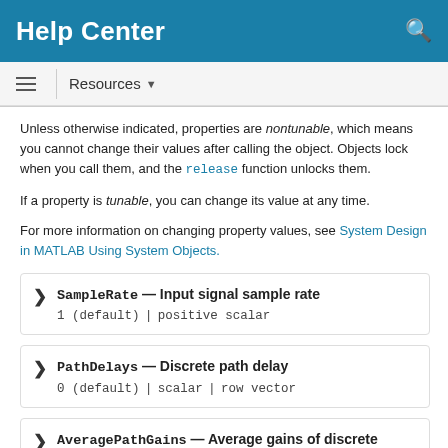Help Center
Unless otherwise indicated, properties are nontunable, which means you cannot change their values after calling the object. Objects lock when you call them, and the release function unlocks them.
If a property is tunable, you can change its value at any time.
For more information on changing property values, see System Design in MATLAB Using System Objects.
SampleRate — Input signal sample rate
1 (default) | positive scalar
PathDelays — Discrete path delay
0 (default) | scalar | row vector
AveragePathGains — Average gains of discrete